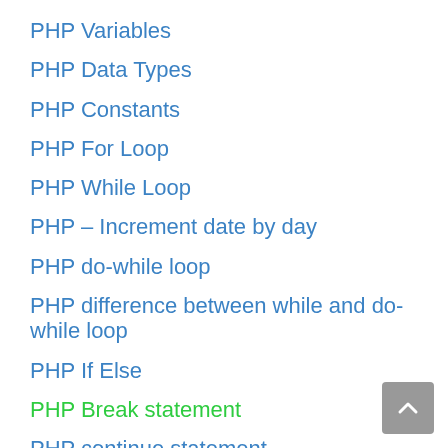PHP Variables
PHP Data Types
PHP Constants
PHP For Loop
PHP While Loop
PHP – Increment date by day
PHP do-while loop
PHP difference between while and do-while loop
PHP If Else
PHP Break statement
PHP continue statement
PHP Switch Statement